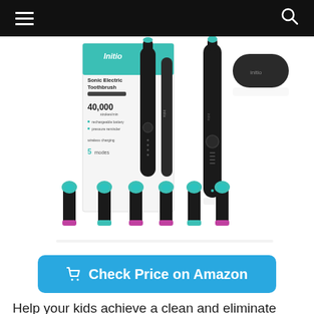Navigation bar with hamburger menu and search icon
[Figure (photo): Initio Sonic Electric Toothbrush product photo showing the black electric toothbrush, travel case, multiple brush head replacements (teal/blue bristles with pink and teal collars), and the product box packaging. The box reads: Initio, Sonic Electric Toothbrush, 40,000, 5 modes.]
Check Price on Amazon
Help your kids achieve a clean and eliminate plaque